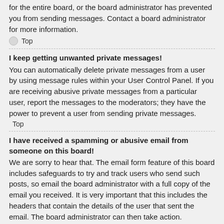for the entire board, or the board administrator has prevented you from sending messages. Contact a board administrator for more information.
Top
I keep getting unwanted private messages!
You can automatically delete private messages from a user by using message rules within your User Control Panel. If you are receiving abusive private messages from a particular user, report the messages to the moderators; they have the power to prevent a user from sending private messages.
Top
I have received a spamming or abusive email from someone on this board!
We are sorry to hear that. The email form feature of this board includes safeguards to try and track users who send such posts, so email the board administrator with a full copy of the email you received. It is very important that this includes the headers that contain the details of the user that sent the email. The board administrator can then take action.
Top